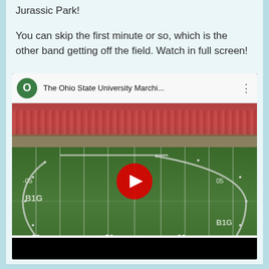Jurassic Park!
You can skip the first minute or so, which is the other band getting off the field. Watch in full screen!
[Figure (screenshot): YouTube video thumbnail showing The Ohio State University Marching Band forming a shape on a football field, with a red play button in the center. Video title reads 'The Ohio State University Marchi...']